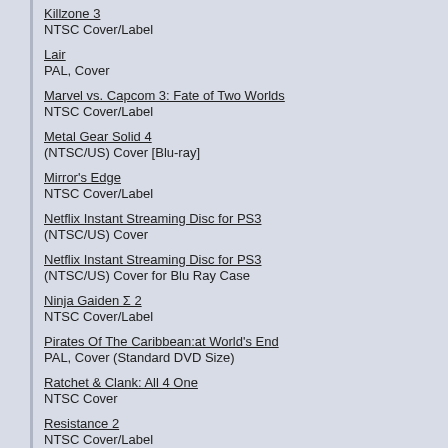Killzone 3
NTSC Cover/Label
Lair
PAL, Cover
Marvel vs. Capcom 3: Fate of Two Worlds
NTSC Cover/Label
Metal Gear Solid 4
(NTSC/US) Cover [Blu-ray]
Mirror's Edge
NTSC Cover/Label
Netflix Instant Streaming Disc for PS3
(NTSC/US) Cover
Netflix Instant Streaming Disc for PS3
(NTSC/US) Cover for Blu Ray Case
Ninja Gaiden Σ 2
NTSC Cover/Label
Pirates Of The Caribbean:at World's End
PAL, Cover (Standard DVD Size)
Ratchet & Clank: All 4 One
NTSC Cover
Resistance 2
NTSC Cover/Label